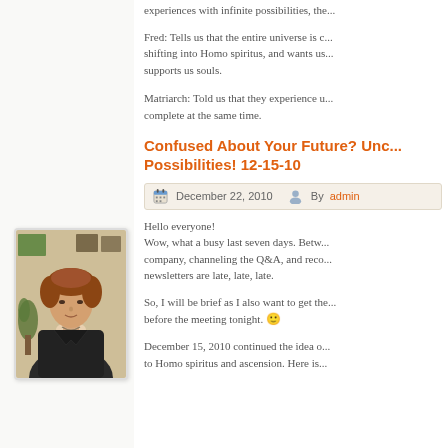experiences with infinite possibilities, the...
Fred: Tells us that the entire universe is changing, shifting into Homo spiritus, and wants us... supports us souls.
Matriarch: Told us that they experience u... complete at the same time.
[Figure (photo): A woman with short reddish-brown hair wearing a black jacket, standing in front of colorful artwork on a wall with a plant nearby.]
Confused About Your Future? Unc... Possibilities! 12-15-10
December 22, 2010   By admin
Hello everyone!
Wow, what a busy last seven days. Betw... company, channeling the Q&A, and reco... newsletters are late, late, late.
So, I will be brief as I also want to get the... before the meeting tonight. 🙂
December 15, 2010 continued the idea o... to Homo spiritus and ascension. Here is...